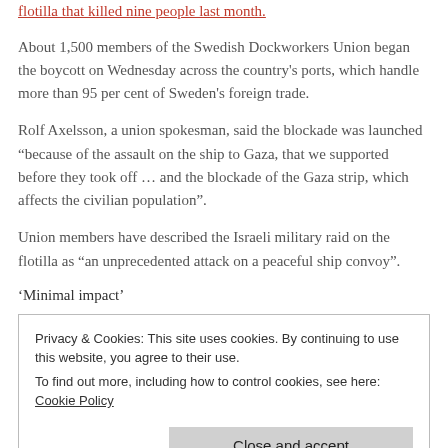flotilla that killed nine people last month.
About 1,500 members of the Swedish Dockworkers Union began the boycott on Wednesday across the country's ports, which handle more than 95 per cent of Sweden's foreign trade.
Rolf Axelsson, a union spokesman, said the blockade was launched “because of the assault on the ship to Gaza, that we supported before they took off … and the blockade of the Gaza strip, which affects the civilian population”.
Union members have described the Israeli military raid on the flotilla as “an unprecedented attack on a peaceful ship convoy”.
‘Minimal impact’
Privacy & Cookies: This site uses cookies. By continuing to use this website, you agree to their use.
To find out more, including how to control cookies, see here: Cookie Policy
Close and accept
to lift the blockade”.